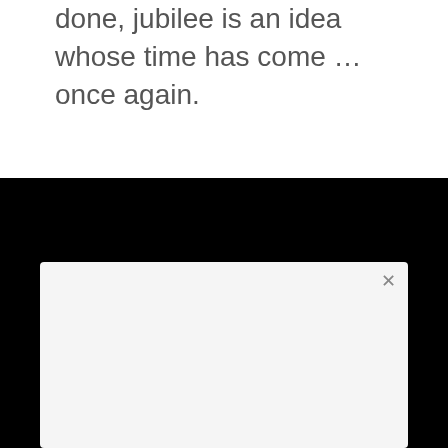done, jubilee is an idea whose time has come … once again.
SUBSCRIBE
Our daily email newsletter
Spread The Word!
Share this post with your networks.
[Figure (infographic): Four social media share buttons: Facebook (blue), Twitter (light blue), Pinterest (red), LinkedIn (dark blue)]